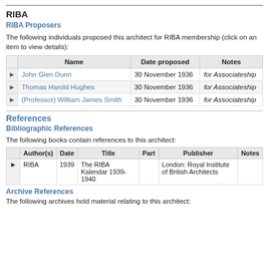RIBA
RIBA Proposers
The following individuals proposed this architect for RIBA membership (click on an item to view details):
|  | Name | Date proposed | Notes |
| --- | --- | --- | --- |
| ▶ | John Glen Dunn | 30 November 1936 | for Associateship |
| ▶ | Thomas Harold Hughes | 30 November 1936 | for Associateship |
| ▶ | (Professor) William James Smith | 30 November 1936 | for Associateship |
References
Bibliographic References
The following books contain references to this architect:
|  | Author(s) | Date | Title | Part | Publisher | Notes |
| --- | --- | --- | --- | --- | --- | --- |
| ▶ | RIBA | 1939 | The RIBA Kalendar 1939-1940 |  | London: Royal Institute of British Architects |  |
Archive References
The following archives hold material relating to this architect: